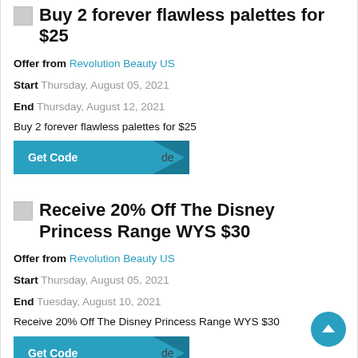Buy 2 forever flawless palettes for $25
Offer from Revolution Beauty US
Start Thursday, August 05, 2021
End Thursday, August 12, 2021
Buy 2 forever flawless palettes for $25
[Figure (other): Get Code button with arrow overlay]
Receive 20% Off The Disney Princess Range WYS $30
Offer from Revolution Beauty US
Start Thursday, August 05, 2021
End Tuesday, August 10, 2021
Receive 20% Off The Disney Princess Range WYS $30
[Figure (other): Get Code button with arrow overlay]
[Figure (other): Scroll to top circular button]